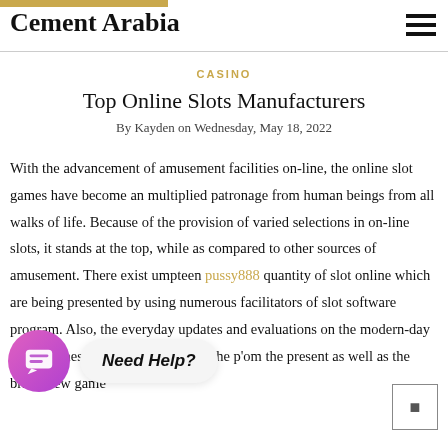Cement Arabia
CASINO
Top Online Slots Manufacturers
By Kayden on Wednesday, May 18, 2022
With the advancement of amusement facilities on-line, the online slot games have become an multiplied patronage from human beings from all walks of life. Because of the provision of varied selections in on-line slots, it stands at the top, while as compared to other sources of amusement. There exist umpteen pussy888 quantity of slot online which are being presented by using numerous facilitators of slot software program. Also, the everyday updates and evaluations on the modern-day video games permit the gamers to ch e p' om the present as well as the brand new game